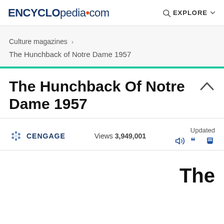ENCYCLopedia•com  EXPLORE
Culture magazines › The Hunchback of Notre Dame 1957
The Hunchback Of Notre Dame 1957
CENGAGE  Views 3,949,001  Updated
The